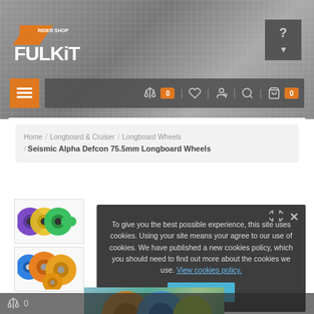[Figure (screenshot): FulKit Rider Shop website header with blurred brick wall background]
RIDER SHOP FULKIT
[Figure (screenshot): Navigation bar with menu button, compare (0), wishlist, account, search, and cart (0) icons]
Home / Longboard & Cruiser / Longboard Wheels / Seismic Alpha Defcon 75.5mm Longboard Wheels
[Figure (photo): Thumbnail of longboard wheels - multi-color (purple, green, yellow) wheels]
[Figure (photo): Thumbnail of orange/yellow longboard wheels]
To give you the best possible experience, this site uses cookies. Using your site means your agree to our use of cookies. We have published a new cookies policy, which you should need to find out more about the cookies we use. View cookies policy.
Accept